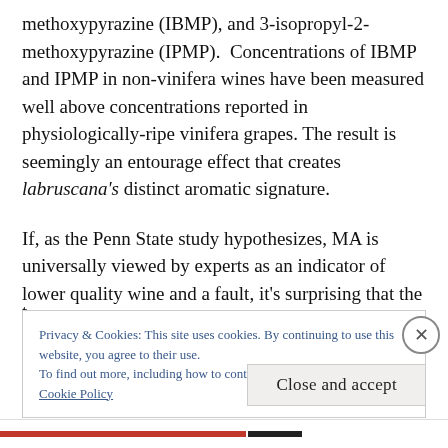methoxypyrazine (IBMP), and 3-isopropyl-2-methoxypyrazine (IPMP).  Concentrations of IBMP and IPMP in non-vinifera wines have been measured well above concentrations reported in physiologically-ripe vinifera grapes. The result is seemingly an entourage effect that creates labruscana's distinct aromatic signature.
If, as the Penn State study hypothesizes, MA is universally viewed by experts as an indicator of lower quality wine and a fault, it's surprising that the experts in this study failed to reach a complete rejection
Privacy & Cookies: This site uses cookies. By continuing to use this website, you agree to their use.
To find out more, including how to control cookies, see here:
Cookie Policy
Close and accept